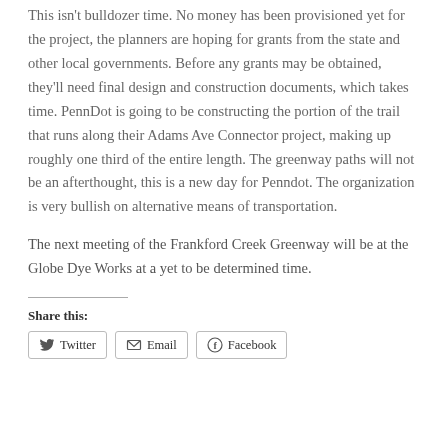This isn't bulldozer time. No money has been provisioned yet for the project, the planners are hoping for grants from the state and other local governments. Before any grants may be obtained, they'll need final design and construction documents, which takes time. PennDot is going to be constructing the portion of the trail that runs along their Adams Ave Connector project, making up roughly one third of the entire length. The greenway paths will not be an afterthought, this is a new day for Penndot. The organization is very bullish on alternative means of transportation.
The next meeting of the Frankford Creek Greenway will be at the Globe Dye Works at a yet to be determined time.
Share this:
Twitter
Email
Facebook